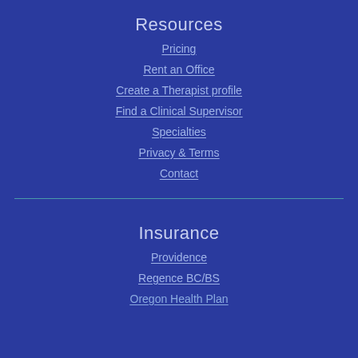Resources
Pricing
Rent an Office
Create a Therapist profile
Find a Clinical Supervisor
Specialties
Privacy & Terms
Contact
Insurance
Providence
Regence BC/BS
Oregon Health Plan